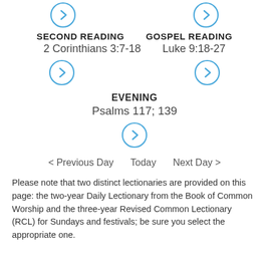[Figure (other): Two circular arrow buttons at top]
SECOND READING    GOSPEL READING
2 Corinthians 3:7-18    Luke 9:18-27
[Figure (other): Two circular arrow buttons in middle row]
EVENING
Psalms 117; 139
[Figure (other): Single circular arrow button]
< Previous Day    Today    Next Day >
Please note that two distinct lectionaries are provided on this page: the two-year Daily Lectionary from the Book of Common Worship and the three-year Revised Common Lectionary (RCL) for Sundays and festivals; be sure you select the appropriate one.